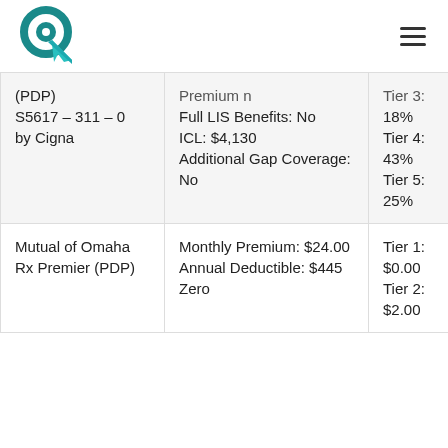Logo and navigation menu
| Plan Name | Plan Details | Tier Info |
| --- | --- | --- |
| (PDP)
S5617 – 311 – 0
by Cigna | Premium n
Full LIS Benefits: No
ICL: $4,130
Additional Gap Coverage: No | Tier 3:
18%
Tier 4:
43%
Tier 5:
25% |
| Mutual of Omaha Rx Premier (PDP) | Monthly Premium: $24.00
Annual Deductible: $445
Zero | Tier 1: $0.00
Tier 2: $2.00 |